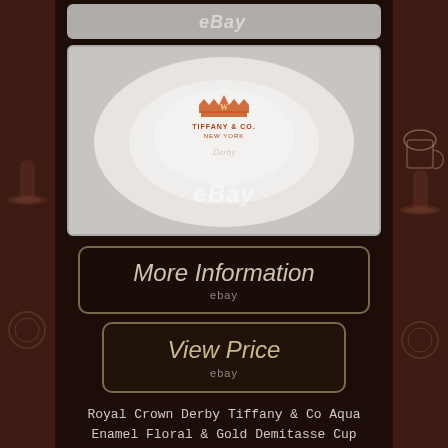[Figure (screenshot): Partial top image showing eBay watermark on grey background, cropped at top]
[Figure (photo): Bottom of a white ceramic plate/saucer showing Tiffany & Co New York maker's mark stamp in gold/orange, with eBay watermark overlay]
[Figure (screenshot): Button graphic reading 'More Information' in italic script with 'ebay' text below, on dark background with gold border]
[Figure (screenshot): Button graphic reading 'View Price' in italic script with 'ebay' text below, on dark background with gold border]
Royal Crown Derby Tiffany & Co Aqua Enamel Floral & Gold Demitasse Cup